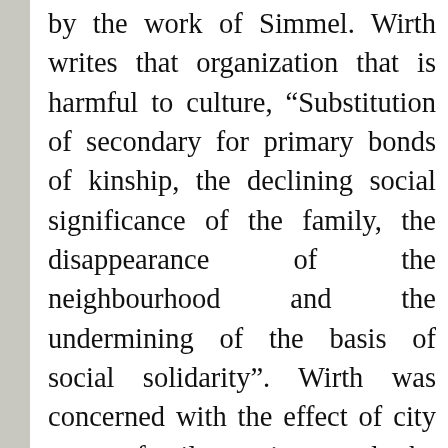by the work of Simmel. Wirth writes that organization that is harmful to culture, "Substitution of secondary for primary bonds of kinship, the declining social significance of the family, the disappearance of the neighbourhood and the undermining of the basis of social solidarity". Wirth was concerned with the effect of city upon family unity, and he believed urban life led to 'declining urban reproduction rates'. Families were more frequently without children than in the rural areas, marriage tends to be postponed, and the proportion growing leading to isolation and less interaction but also the positive effects of city life. The city evokes a spirit of freedom and toleration, the home o